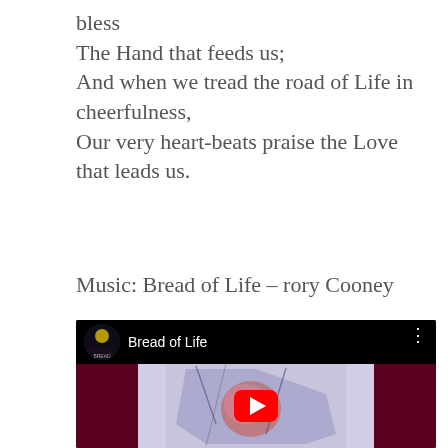bless
The Hand that feeds us;
And when we tread the road of Life in cheerfulness,
Our very heart-beats praise the Love that leads us.
Music: Bread of Life – rory Cooney
[Figure (screenshot): YouTube video embed showing 'Bread of Life' with a circular album thumbnail on the left, title text, three-dot menu icon, dark maroon side panels, and a central image with a red YouTube play button overlay.]